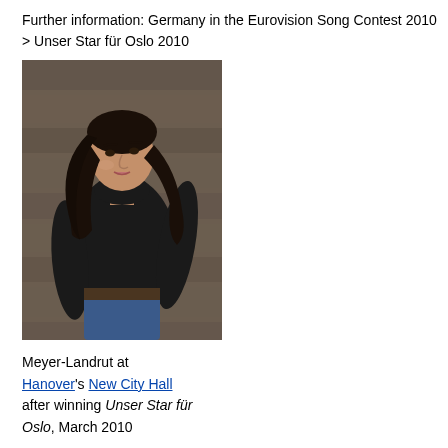Further information: Germany in the Eurovision Song Contest 2010
> Unser Star für Oslo 2010
[Figure (photo): A young woman with long dark hair wearing a black turtleneck sweater and jeans, standing against a stone or brick wall background. Photo of Lena Meyer-Landrut.]
Meyer-Landrut at Hanover's New City Hall after winning Unser Star für Oslo, March 2010